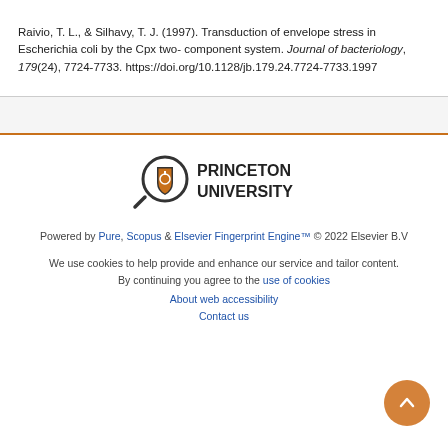Raivio, T. L., & Silhavy, T. J. (1997). Transduction of envelope stress in Escherichia coli by the Cpx two-component system. Journal of bacteriology, 179(24), 7724-7733. https://doi.org/10.1128/jb.179.24.7724-7733.1997
[Figure (logo): Princeton University logo with magnifying glass icon containing a shield with orange torch/power symbol, next to bold text reading PRINCETON UNIVERSITY]
Powered by Pure, Scopus & Elsevier Fingerprint Engine™ © 2022 Elsevier B.V
We use cookies to help provide and enhance our service and tailor content. By continuing you agree to the use of cookies
About web accessibility
Contact us